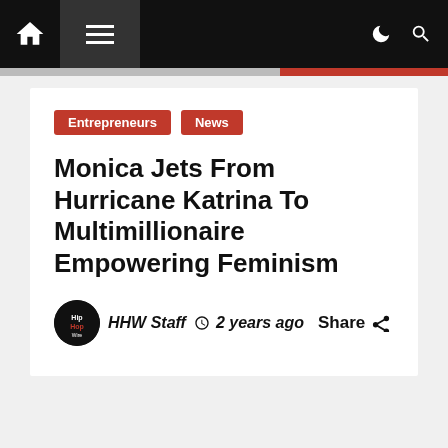HipHop Wire — Navigation bar with home, menu, dark mode, and search icons
Entrepreneurs
News
Monica Jets From Hurricane Katrina To Multimillionaire Empowering Feminism
HHW Staff  2 years ago  Share